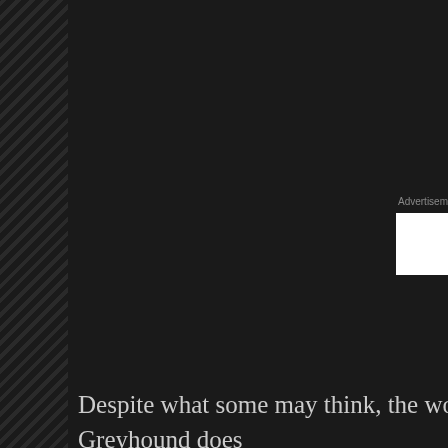[Figure (screenshot): Dark website background with diagonal stripe pattern on left, Advertisements label and white ad box with red circle logo visible in upper right area]
Despite what some may think, the word Greyhound does not refer to its color. In fact, there is no real “gray” Greyhound. The closest thing would be the “steel” color, and it is not common.
Privacy & Cookies: This site uses cookies. By continuing to use this website, you agree to their use.
To find out more, including how to control cookies, see here:
Cookie Policy